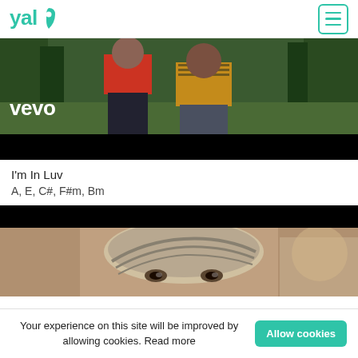yalp
[Figure (screenshot): Video thumbnail showing people walking outdoors with vevo logo overlay and black bar at bottom]
I'm In Luv
A, E, C#, F#m, Bm
[Figure (screenshot): Video thumbnail showing a man wearing a turban with black bar at top]
Your experience on this site will be improved by allowing cookies. Read more